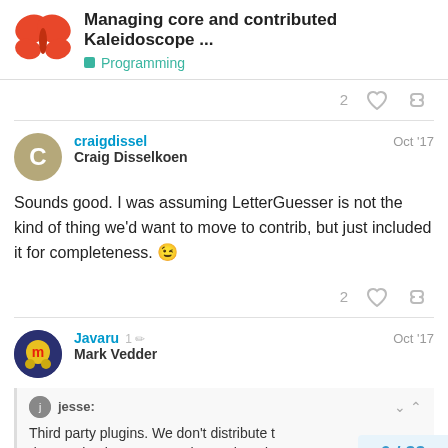Managing core and contributed Kaleidoscope ... | Programming
2 ♡ 🔗
craigdissel Oct '17
Craig Disselkoen

Sounds good. I was assuming LetterGuesser is not the kind of thing we'd want to move to contrib, but just included it for completeness. 😉
2 ♡ 🔗
Javaru 1 ✏ Oct '17
Mark Vedder
jesse:
Third party plugins. We don't distribute them, we don't maintain or support them. They do...